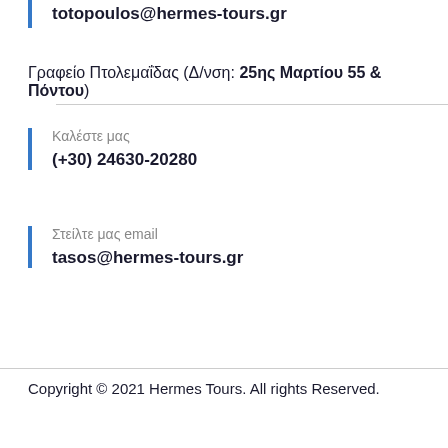totopoulos@hermes-tours.gr
Γραφείο Πτολεμαΐδας (Δ/νση: 25ης Μαρτίου 55 & Πόντου)
Καλέστε μας
(+30) 24630-20280
Στείλτε μας email
tasos@hermes-tours.gr
Copyright © 2021 Hermes Tours. All rights Reserved.